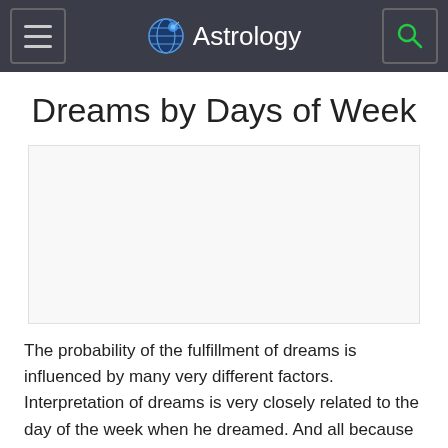Astrology
Dreams by Days of Week
[Figure (other): Advertisement or placeholder image area (blank/white rectangle)]
The probability of the fulfillment of dreams is influenced by many very different factors. Interpretation of dreams is very closely related to the day of the week when he dreamed. And all because every day of the week is affected by the